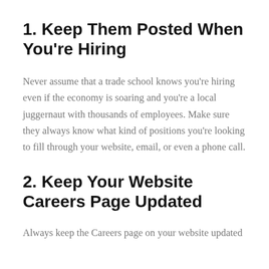1. Keep Them Posted When You're Hiring
Never assume that a trade school knows you're hiring even if the economy is soaring and you're a local juggernaut with thousands of employees. Make sure they always know what kind of positions you're looking to fill through your website, email, or even a phone call.
2. Keep Your Website Careers Page Updated
Always keep the Careers page on your website updated